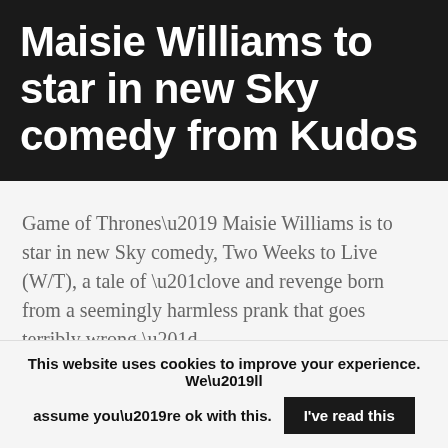Maisie Williams to star in new Sky comedy from Kudos
Game of Thrones’ Maisie Williams is to star in new Sky comedy, Two Weeks to Live (W/T), a tale of “love and revenge born from a seemingly harmless prank that goes terribly wrong.”
This website uses cookies to improve your experience. We’ll assume you’re ok with this. I’ve read this